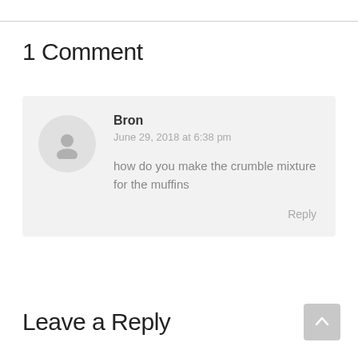1 Comment
Bron
June 29, 2018 at 6:38 pm
how do you make the crumble mixture for the muffins
Reply
Leave a Reply